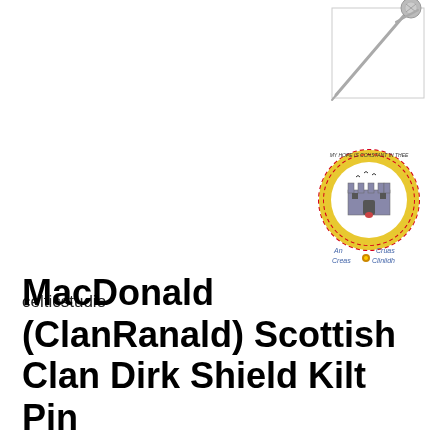[Figure (photo): A silver Scottish dirk shield kilt pin product photo on white background]
[Figure (illustration): Clan Ranald (MacDonald) Scottish clan crest badge - circular crest with castle illustration, yellow/gold border with text 'My Hope Is Constant In Thee', and text below reading 'An Creas Crois / Creas Crois Cliniidh']
celticstudio
MacDonald (ClanRanald) Scottish Clan Dirk Shield Kilt Pin